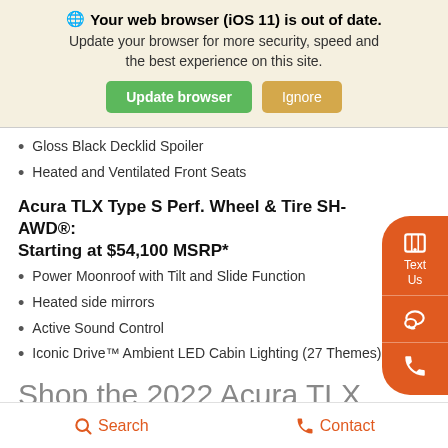🌐 Your web browser (iOS 11) is out of date. Update your browser for more security, speed and the best experience on this site. [Update browser] [Ignore]
Gloss Black Decklid Spoiler
Heated and Ventilated Front Seats
Acura TLX Type S Perf. Wheel & Tire SH-AWD®: Starting at $54,100 MSRP*
Power Moonroof with Tilt and Slide Function
Heated side mirrors
Active Sound Control
Iconic Drive™ Ambient LED Cabin Lighting (27 Themes)
Shop the 2022 Acura TLX Trim Levels Near Asheville